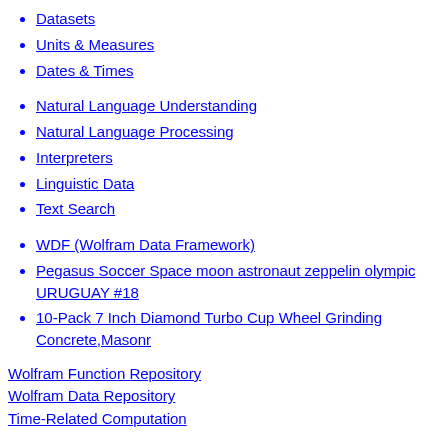Datasets
Units & Measures
Dates & Times
Natural Language Understanding
Natural Language Processing
Interpreters
Linguistic Data
Text Search
WDF (Wolfram Data Framework)
Pegasus Soccer Space moon astronaut zeppelin olympic URUGUAY #18
10-Pack 7 Inch Diamond Turbo Cup Wheel Grinding Concrete,Masonr
Wolfram Function Repository
Wolfram Data Repository
Time-Related Computation